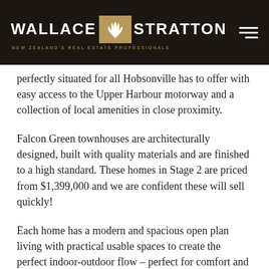[Figure (logo): Wallace Stratton real estate logo with fern emblem on dark background, tagline: NEW ZEALAND'S REAL ESTATE PROFESSIONALS]
perfectly situated for all Hobsonville has to offer with easy access to the Upper Harbour motorway and a collection of local amenities in close proximity.
Falcon Green townhouses are architecturally designed, built with quality materials and are finished to a high standard. These homes in Stage 2 are priced from $1,399,000 and we are confident these will sell quickly!
Each home has a modern and spacious open plan living with practical usable spaces to create the perfect indoor-outdoor flow – perfect for comfort and entertainment.